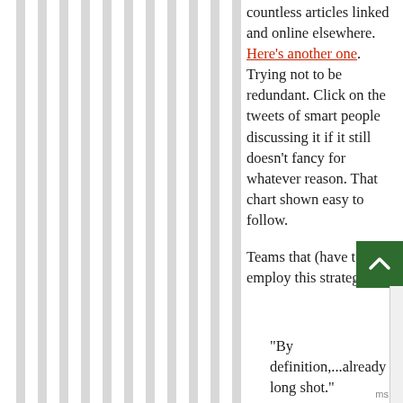countless articles linked and online elsewhere. Here's another one. Trying not to be redundant. Click on the tweets of smart people discussing it if it still doesn't fancy for whatever reason. That chart shown easy to follow.

Teams that (have to) employ this strategy are
"By definition,...already a long shot."